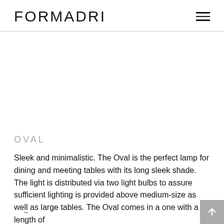FORMADRI
[Figure (other): Empty white image area representing a lamp product photo placeholder]
OVAL
Sleek and minimalistic. The Oval is the perfect lamp for dining and meeting tables with its long sleek shade. The light is distributed via two light bulbs to assure sufficient lighting is provided above medium-size as well as large tables. The Oval comes in a one with a length of